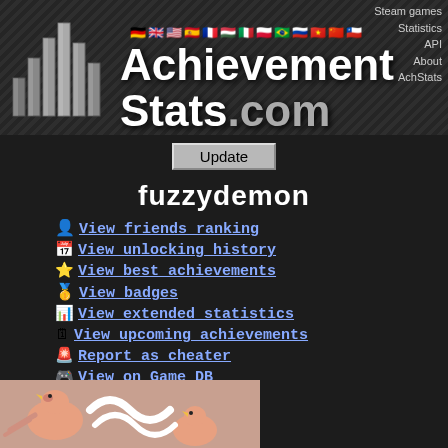[Figure (logo): AchievementStats.com website header with bar chart logo, flag icons, navigation links, and site title in white text on dark carbon-fiber background]
fuzzydemon
View friends ranking
View unlocking history
View best achievements
View badges
View extended statistics
View upcoming achievements
Report as cheater
View on Game DB
Set as my profile
[Figure (illustration): Pixel art pink/salmon colored birds at the bottom of the page]